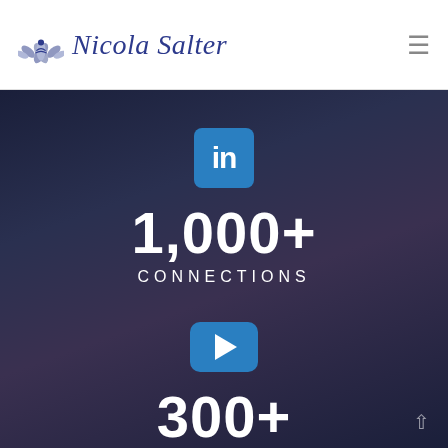Nicola Salter
[Figure (infographic): LinkedIn icon (blue rounded square with 'in'), stat: 1,000+ CONNECTIONS]
[Figure (infographic): YouTube icon (blue rounded rectangle with play triangle), stat: 300+ SUBSCRIBERS]